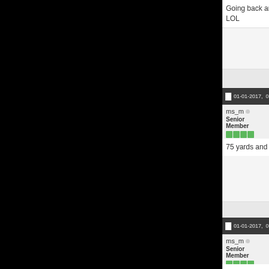Going back and forth between which g LOL
01-01-2017, 05:55 PM
ms_m
Senior Member
75 yards and a TD....You go Falcons!!!!
01-01-2017, 06:30 PM
ms_m
Senior Member
Wow, nice Falcons.